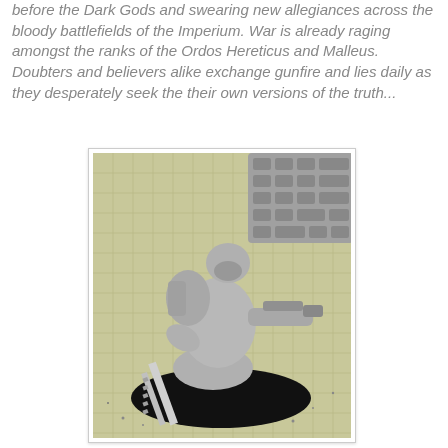before the Dark Gods and swearing new allegiances across the bloody battlefields of the Imperium. War is already raging amongst the ranks of the Ordos Hereticus and Malleus. Doubters and believers alike exchange gunfire and lies daily as they desperately seek the their own versions of the truth...
[Figure (photo): A grey unpainted Warhammer 40K miniature figure in a crouching pose on a black oval base, holding a large gun in one hand and a chainsword in the other, photographed on a green cutting mat with a keyboard visible in the background.]